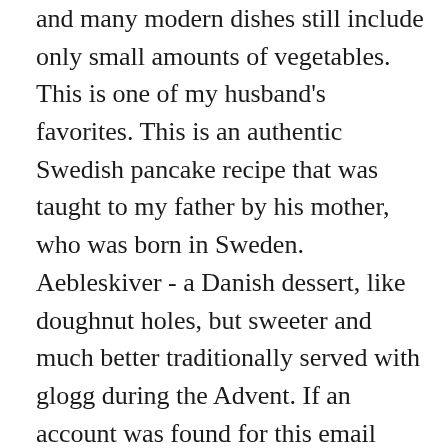and many modern dishes still include only small amounts of vegetables. This is one of my husband's favorites. This is an authentic Swedish pancake recipe that was taught to my father by his mother, who was born in Sweden. Aebleskiver - a Danish dessert, like doughnut holes, but sweeter and much better traditionally served with glogg during the Advent. If an account was found for this email address, we've emailed you instructions to reset your password. This Swedish dish takes its name from Hasselbacken, the Stockholm restaurant where it was first served. Find the best Nordic recipes from a real Danish guy. They are a true delight, especially if you are a lover of nuts. They are simple to make, unique